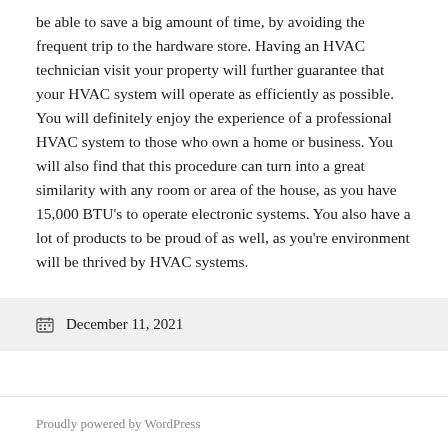be able to save a big amount of time, by avoiding the frequent trip to the hardware store. Having an HVAC technician visit your property will further guarantee that your HVAC system will operate as efficiently as possible. You will definitely enjoy the experience of a professional HVAC system to those who own a home or business. You will also find that this procedure can turn into a great similarity with any room or area of the house, as you have 15,000 BTU's to operate electronic systems. You also have a lot of products to be proud of as well, as you're environment will be thrived by HVAC systems.
December 11, 2021
Proudly powered by WordPress